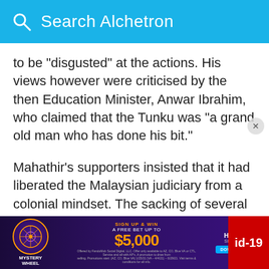Search Alchetron
to be "disgusted" at the actions. His views however were criticised by the then Education Minister, Anwar Ibrahim, who claimed that the Tunku was "a grand old man who has done his bit."
Mahathir's supporters insisted that it had liberated the Malaysian judiciary from a colonial mindset. The sacking of several justices was justified by claims that these judges had been abusing public funds for their personal expenses — such as the purchase of luxury furniture from Italy. It was also claimed that the sackings had eliminated deadwood and improved efficiency in the courts, as evince
[Figure (screenshot): Advertisement banner for Mystery Wheel / Hard Rock Sportsbook: 'Sign up & win a free bet up to $5,000', with Download Now button and red id-19 badge.]